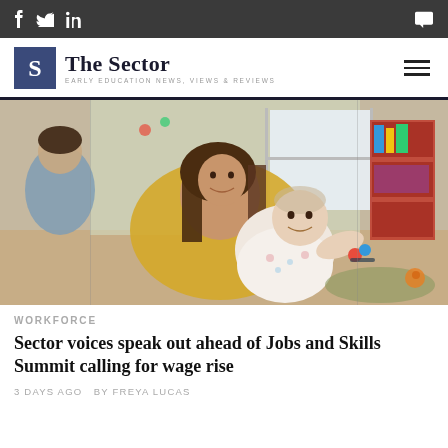f  twitter  in  [comment icon]
[Figure (logo): The Sector logo - blue box with S, text 'The Sector', tagline 'EARLY EDUCATION NEWS, VIEWS & REVIEWS', hamburger menu icon]
[Figure (photo): A woman in a yellow cardigan sitting on the floor with a baby in a floral onesie in a childcare/playroom setting. Another child is partially visible on the left.]
WORKFORCE
Sector voices speak out ahead of Jobs and Skills Summit calling for wage rise
3 DAYS AGO  BY FREYA LUCAS